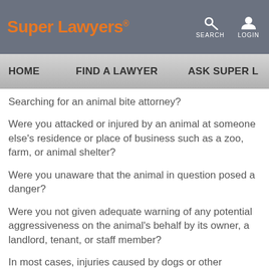Super Lawyers
SEARCH LOGIN
HOME  FIND A LAWYER  ASK SUPER L
Searching for an animal bite attorney?
Were you attacked or injured by an animal at someone else's residence or place of business such as a zoo, farm, or animal shelter?
Were you unaware that the animal in question posed a danger?
Were you not given adequate warning of any potential aggressiveness on the animal's behalf by its owner, a landlord, tenant, or staff member?
In most cases, injuries caused by dogs or other common household pets that occur on the owner's property –